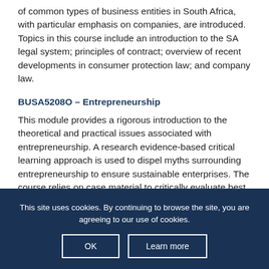of common types of business entities in South Africa, with particular emphasis on companies, are introduced. Topics in this course include an introduction to the SA legal system; principles of contract; overview of recent developments in consumer protection law; and company law.
BUSA5208O – Entrepreneurship
This module provides a rigorous introduction to the theoretical and practical issues associated with entrepreneurship. A research evidence-based critical learning approach is used to dispel myths surrounding entrepreneurship to ensure sustainable enterprises. The course relies on case material to critically evaluate best practices underpinning entrepreneurship theories. The course provides a
This site uses cookies. By continuing to browse the site, you are agreeing to our use of cookies.